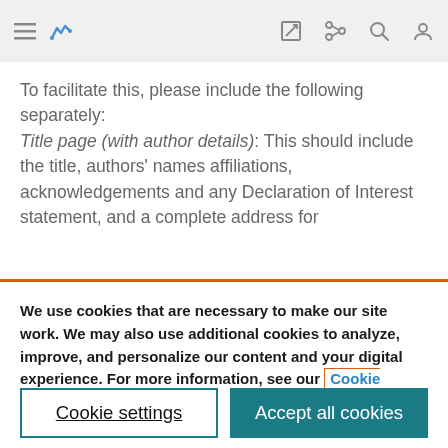[Navigation bar with hamburger menu, logo, edit icon, share icon, search icon, user icon]
To facilitate this, please include the following separately: Title page (with author details): This should include the title, authors' names affiliations, acknowledgements and any Declaration of Interest statement, and a complete address for
We use cookies that are necessary to make our site work. We may also use additional cookies to analyze, improve, and personalize our content and your digital experience. For more information, see our Cookie Policy
Cookie settings
Accept all cookies